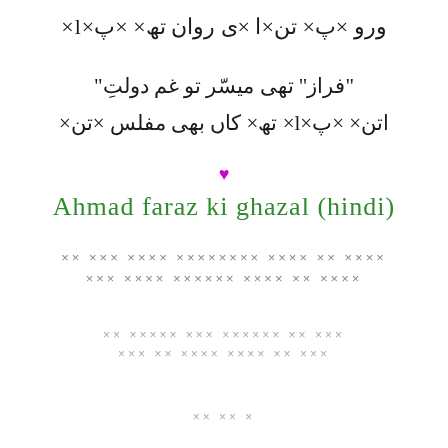ورو ×پ× تن×ا×ی روان تھ× ×پ×l×
"فراز" تھی میسّر تو غم دولتِ
اتن× ×پ×l× تھ× کاں بھی مفلس ×تن×
[Figure (illustration): Small magenta/pink heart symbol used as decorative divider]
Ahmad faraz ki ghazal (hindi)
×× ××× ×××× ×××××××× ×××× ×× ××××
××× ×××× ×××××× ×××× ×× ××××
×× ××××× ××× ×××××× ×× ×××
××× ×× ×××× ×××× ×× ×××
×× ×× ×